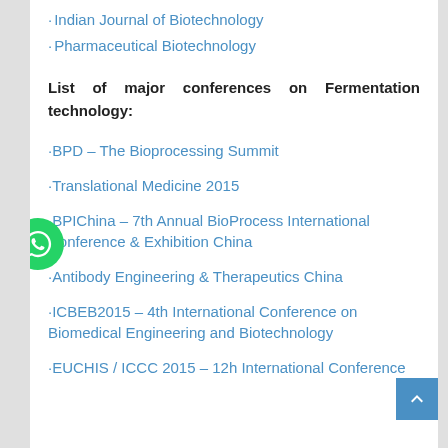· Indian Journal of Biotechnology
· Pharmaceutical Biotechnology
List of major conferences on Fermentation technology:
·BPD – The Bioprocessing Summit
·Translational Medicine 2015
·BPIChina – 7th Annual BioProcess International Conference & Exhibition China
·Antibody Engineering & Therapeutics China
·ICBEB2015 – 4th International Conference on Biomedical Engineering and Biotechnology
·EUCHIS / ICCC 2015 – 12h International Conference